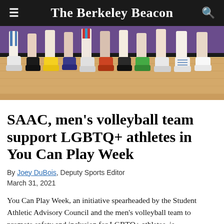The Berkeley Beacon
[Figure (photo): Close-up photo of athletes' legs and feet wearing various colorful sneakers and socks, standing on a wooden gymnasium court floor with a purple wall in the background.]
SAAC, men's volleyball team support LGBTQ+ athletes in You Can Play Week
By Joey DuBois, Deputy Sports Editor
March 31, 2021
You Can Play Week, an initiative spearheaded by the Student Athletic Advisory Council and the men's volleyball team to promote safety and inclusion for LGBTQ+ athletes, is